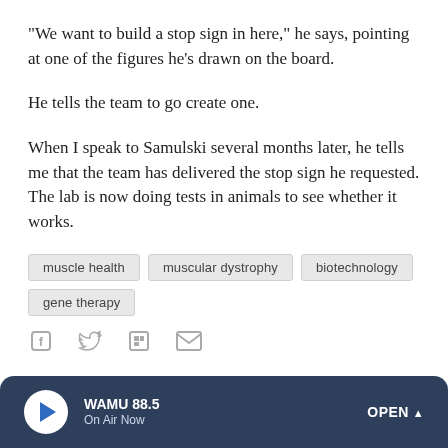"We want to build a stop sign in here," he says, pointing at one of the figures he's drawn on the board.
He tells the team to go create one.
When I speak to Samulski several months later, he tells me that the team has delivered the stop sign he requested. The lab is now doing tests in animals to see whether it works.
muscle health
muscular dystrophy
biotechnology
gene therapy
[Figure (infographic): Social sharing icons: Facebook, Twitter, Flipboard, Email]
WAMU 88.5 On Air Now OPEN ^